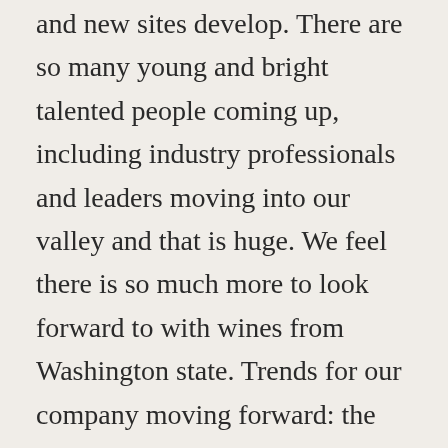and new sites develop. There are so many young and bright talented people coming up, including industry professionals and leaders moving into our valley and that is huge. We feel there is so much more to look forward to with wines from Washington state. Trends for our company moving forward: the importance of our talented people that work for our company. We believe retaining knowledgeable crew members is the key to our long-term sustainability.
What fact can you share about your job